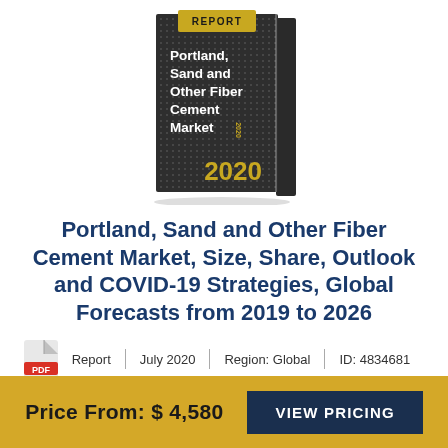[Figure (illustration): A 3D book cover with dark background showing 'REPORT' label in yellow, title 'Portland, Sand and Other Fiber Cement Market' in white text, and '2020' in gold at the bottom.]
Portland, Sand and Other Fiber Cement Market, Size, Share, Outlook and COVID-19 Strategies, Global Forecasts from 2019 to 2026
Report | July 2020 | Region: Global | ID: 4834681
Price From: $ 4,580  VIEW PRICING